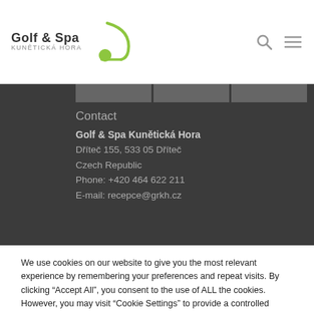[Figure (logo): Golf & Spa Kunětická Hora logo with golf club and ball graphic in green]
Contact
Golf & Spa Kunětická Hora
Dříteč 155, 533 05 Dříteč
Czech Republic
Phone: +420 464 622 211
E-mail: recepce@grkh.cz
We use cookies on our website to give you the most relevant experience by remembering your preferences and repeat visits. By clicking "Accept All", you consent to the use of ALL the cookies. However, you may visit "Cookie Settings" to provide a controlled consent.
Cookie settings   Accept all